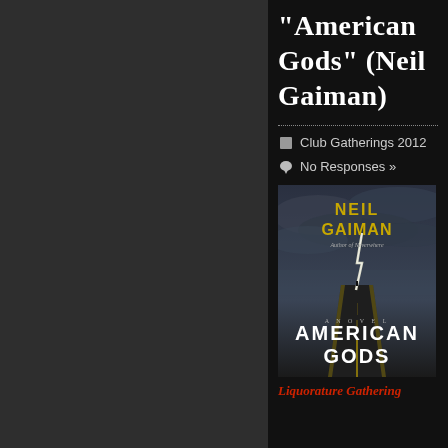“American Gods” (Neil Gaiman)
Club Gatherings 2012
No Responses »
[Figure (illustration): Book cover of American Gods by Neil Gaiman. Shows a dark stormy road with lightning strike, figure in distance. Title AMERICAN GODS in large white text, author name NEIL GAIMAN in gold letters at top. Subtitle 'Author of Neverwhere' in small text.]
Liquorature Gathering